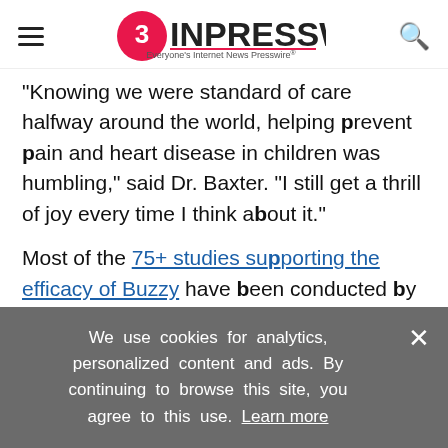EIN PRESSWIRE — Everyone's Internet News Presswire
"Knowing we were standard of care halfway around the world, helping prevent pain and heart disease in children was humbling," said Dr. Baxter. "I still get a thrill of joy every time I think about it."
Most of the 75+ studies supporting the efficacy of Buzzy have been conducted by independent scientists. The Company is often unaware of a trial until after it has been published. This trial is unique because, in addition to being conducted independently, it is technically not a "Buzzy" trial.
We use cookies for analytics, personalized content and ads. By continuing to browse this site, you agree to this use. Learn more